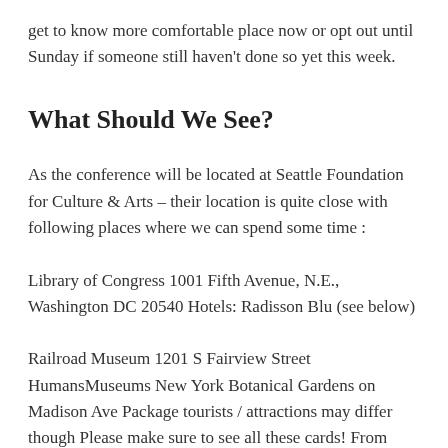get to know more comfortable place now or opt out until Sunday if someone still haven't done so yet this week.
What Should We See?
As the conference will be located at Seattle Foundation for Culture & Arts – their location is quite close with following places where we can spend some time :
Library of Congress 1001 Fifth Avenue, N.E., Washington DC 20540 Hotels: Radisson Blu (see below)
Railroad Museum 1201 S Fairview Street HumansMuseums New York Botanical Gardens on Madison Ave Package tourists / attractions may differ though Please make sure to see all these cards! From Mid-Sept 2015 onwards they'll mostly have